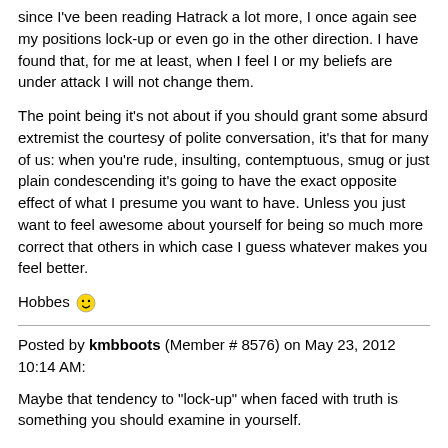since I've been reading Hatrack a lot more, I once again see my positions lock-up or even go in the other direction. I have found that, for me at least, when I feel I or my beliefs are under attack I will not change them.
The point being it's not about if you should grant some absurd extremist the courtesy of polite conversation, it's that for many of us: when you're rude, insulting, contemptuous, smug or just plain condescending it's going to have the exact opposite effect of what I presume you want to have. Unless you just want to feel awesome about yourself for being so much more correct that others in which case I guess whatever makes you feel better.
Hobbes 🙂
Posted by kmbboots (Member # 8576) on May 23, 2012 10:14 AM:
Maybe that tendency to "lock-up" when faced with truth is something you should examine in yourself.
I am not saying that it is an uncommon response, but it isn't a useful or reasonable one and it is part of the equation that you can control now you aware of it.
Posted by Hobbes (Member # 433) on May 23, 2012 10:16 AM:
Yes, I'm very flawed, but that's not relevant to the point I'm making.
Ohh, and "when faced with truth" is an example of something I find